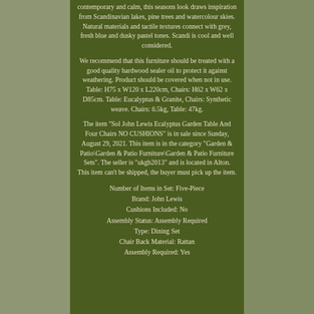contemporary and calm, this seasons look draws inspiration from Scandinavian lakes, pine trees and watercolour skies. Natural materials and tactile textures connect with grey, fresh blue and dusky pastel tones. Scandi is cool and well considered.
We recommend that this furniture should be treated with a good quality hardwood sealer oil to protect it against weathering. Product should be covered when not in use. Table: H75 x W120 x L220cm, Chairs: H62 x W62 x D85cm. Table: Eucalyptus & Granite, Chairs: Synthetic weave. Chairs: 6.5kg, Table: 47kg.
The item "Sol John Lewis Ecalyptus Garden Table And Four Chairs NO CUSHIONS" is in sale since Sunday, August 29, 2021. This item is in the category "Garden & Patio\Garden & Patio Furniture\Garden & Patio Furniture Sets". The seller is "ukgb2013" and is located in Alton. This item can't be shipped, the buyer must pick up the item.
Number of Items in Set: Five-Piece
Brand: John Lewis
Cushions Included: No
Assembly Status: Assembly Required
Type: Dining Set
Chair Back Material: Rattan
Assembly Required: Yes